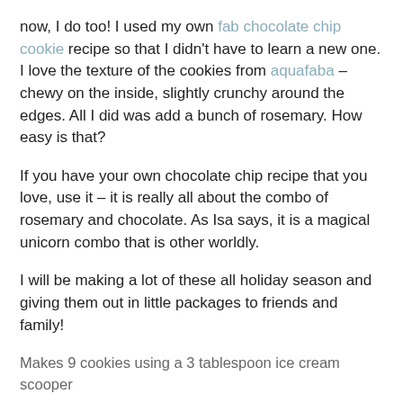now, I do too! I used my own fab chocolate chip cookie recipe so that I didn't have to learn a new one. I love the texture of the cookies from aquafaba – chewy on the inside, slightly crunchy around the edges. All I did was add a bunch of rosemary. How easy is that?
If you have your own chocolate chip recipe that you love, use it – it is really all about the combo of rosemary and chocolate. As Isa says, it is a magical unicorn combo that is other worldly.
I will be making a lot of these all holiday season and giving them out in little packages to friends and family!
Makes 9 cookies using a 3 tablespoon ice cream scooper
3/4 cup + 2 tablespoons whole wheat pastry flour
1/2 cup + 2 tablespoons coconut sugar
1/4 teaspoon salt
1/4 teaspoon baking soda